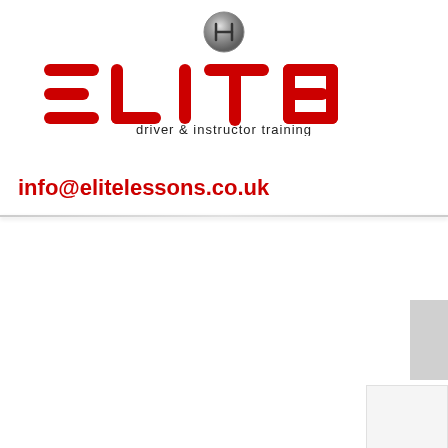[Figure (logo): Elite Driver & Instructor Training logo with gear shift icon above stylized red ELITE wordmark and tagline 'driver & instructor training']
info@elitelessons.co.uk